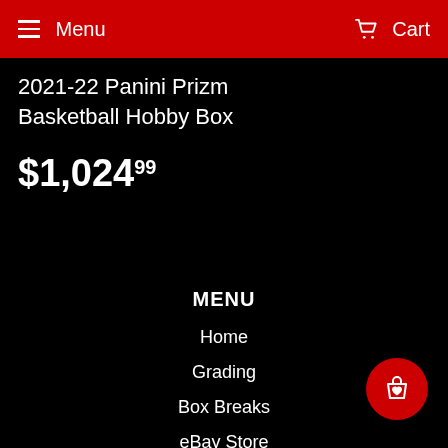Menu   Cart
2021-22 Panini Prizm Basketball Hobby Box
$1,024.99
MENU
Home
Grading
Box Breaks
eBay Store
Card Supplies